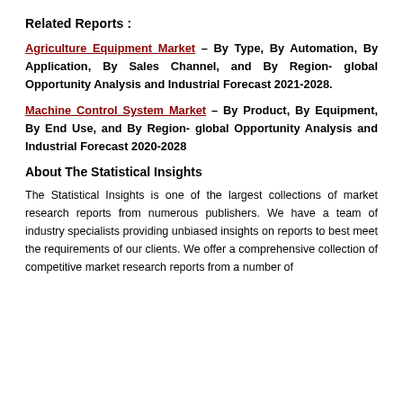Related Reports :
Agriculture Equipment Market – By Type, By Automation, By Application, By Sales Channel, and By Region- global Opportunity Analysis and Industrial Forecast 2021-2028.
Machine Control System Market – By Product, By Equipment, By End Use, and By Region- global Opportunity Analysis and Industrial Forecast 2020-2028
About The Statistical Insights
The Statistical Insights is one of the largest collections of market research reports from numerous publishers. We have a team of industry specialists providing unbiased insights on reports to best meet the requirements of our clients. We offer a comprehensive collection of competitive market research reports from a number of